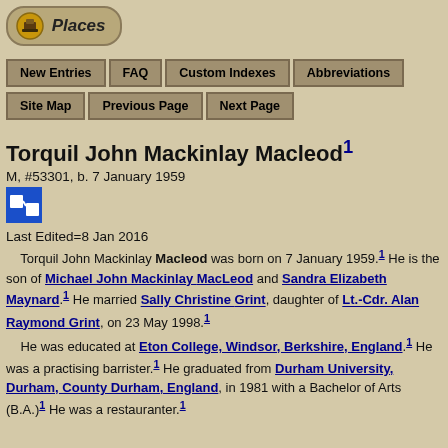Places
New Entries | FAQ | Custom Indexes | Abbreviations | Site Map | Previous Page | Next Page
Torquil John Mackinlay Macleod
M, #53301, b. 7 January 1959
Last Edited=8 Jan 2016
Torquil John Mackinlay Macleod was born on 7 January 1959. He is the son of Michael John Mackinlay MacLeod and Sandra Elizabeth Maynard. He married Sally Christine Grint, daughter of Lt.-Cdr. Alan Raymond Grint, on 23 May 1998. He was educated at Eton College, Windsor, Berkshire, England. He was a practising barrister. He graduated from Durham University, Durham, County Durham, England, in 1981 with a Bachelor of Arts (B.A.) He was a restauranter.